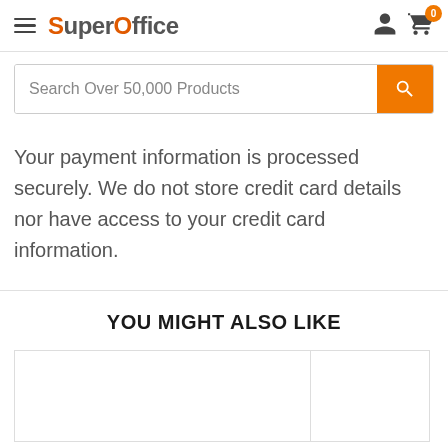SuperOffice — hamburger menu, user icon, cart (0)
Search Over 50,000 Products
Your payment information is processed securely. We do not store credit card details nor have access to your credit card information.
YOU MIGHT ALSO LIKE
[Figure (other): Two product card placeholders shown partially at the bottom of the page]